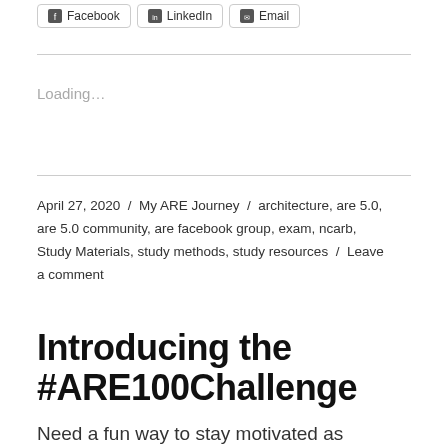[Figure (other): Social share buttons for Facebook, LinkedIn, and Email]
Loading...
April 27, 2020 / My ARE Journey / architecture, are 5.0, are 5.0 community, are facebook group, exam, ncarb, Study Materials, study methods, study resources / Leave a comment
Introducing the #ARE100Challenge
Need a fun way to stay motivated as